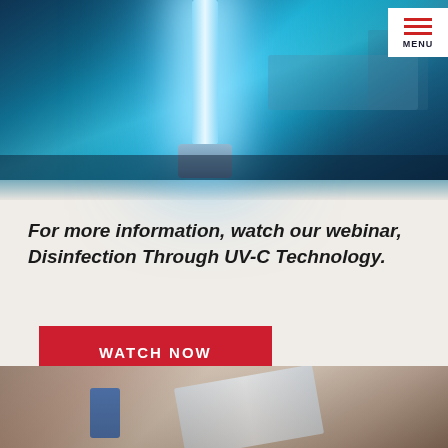[Figure (photo): UV-C disinfection robot/tower with bright blue-white light glowing in a hospital room with a bed visible in background.]
For more information, watch our webinar, Disinfection Through UV-C Technology.
[Figure (other): Red button with white text: WATCH NOW]
[Figure (photo): Close-up photo of medical/laboratory equipment with a blue container visible on the left and a white panel/card with red markings in the center.]